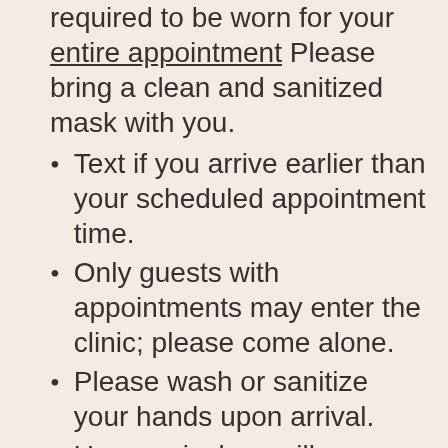required to be worn for your entire appointment Please bring a clean and sanitized mask with you.
Text if you arrive earlier than your scheduled appointment time.
Only guests with appointments may enter the clinic; please come alone.
Please wash or sanitize your hands upon arrival.
Upon arrival we will use a no touch thermometer to check your temp.
Bring only essential items into the clinic. No food or drink may be consumed
Clients will sign a 'Consent